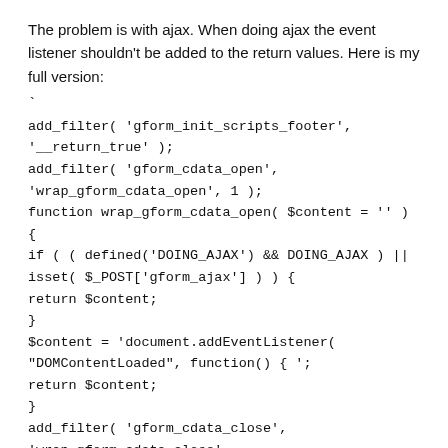The problem is with ajax. When doing ajax the event listener shouldn't be added to the return values. Here is my full version:
`
add_filter( 'gform_init_scripts_footer', '__return_true' );
add_filter( 'gform_cdata_open', 'wrap_gform_cdata_open', 1 );
function wrap_gform_cdata_open( $content = '' ) {
if ( ( defined('DOING_AJAX') && DOING_AJAX ) || isset( $_POST['gform_ajax'] ) ) {
return $content;
}
$content = 'document.addEventListener(
"DOMContentLoaded", function() { ';
return $content;
}
add_filter( 'gform_cdata_close', 'wrap_gform_cdata_close',